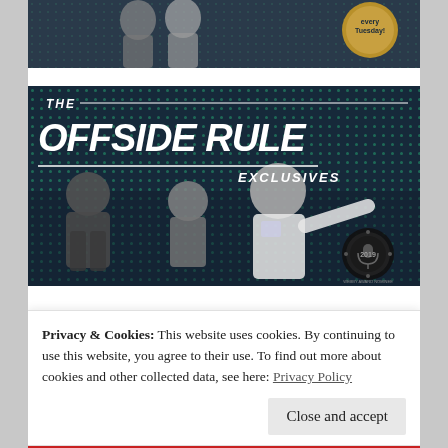[Figure (photo): Partially visible banner showing two women on a dark teal background with a gold circular badge saying 'every Tuesday!']
[Figure (illustration): The Offside Rule Exclusives promotional banner on dark navy background with green dot pattern, bold italic white text reading 'THE OFFSIDE RULE EXCLUSIVES', with three football players (goalkeeper, female player, male player in England kit) and a Webby Award Nominee badge.]
Privacy & Cookies: This website uses cookies. By continuing to use this website, you agree to their use. To find out more about cookies and other collected data, see here: Privacy Policy
Close and accept